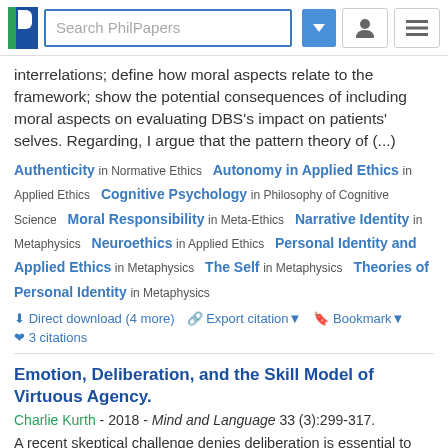Search PhilPapers
interrelations; define how moral aspects relate to the framework; show the potential consequences of including moral aspects on evaluating DBS's impact on patients' selves. Regarding, I argue that the pattern theory of (...)
Authenticity in Normative Ethics   Autonomy in Applied Ethics in Applied Ethics   Cognitive Psychology in Philosophy of Cognitive Science   Moral Responsibility in Meta-Ethics   Narrative Identity in Metaphysics   Neuroethics in Applied Ethics   Personal Identity and Applied Ethics in Metaphysics   The Self in Metaphysics   Theories of Personal Identity in Metaphysics
Direct download (4 more)   Export citation   Bookmark   3 citations
Emotion, Deliberation, and the Skill Model of Virtuous Agency.
Charlie Kurth - 2018 - Mind and Language 33 (3):299-317.
A recent skeptical challenge denies deliberation is essential to virtuous agency; what looks like genuine deliberation is